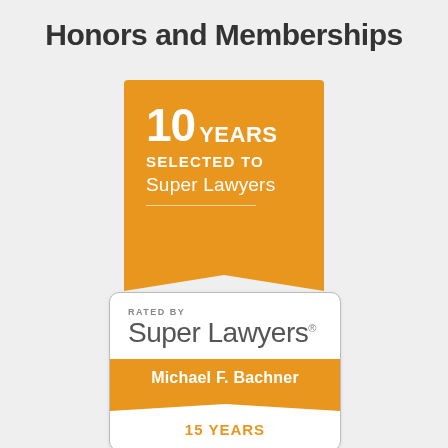Honors and Memberships
[Figure (logo): Orange pennant/banner badge with text '10 YEARS SELECTED TO Super Lawyers' with a horizontal divider line]
[Figure (logo): White rounded card with 'RATED BY Super Lawyers' header, orange ribbon banner with 'Michael F. Bachner', and '15 YEARS' in orange text at bottom]